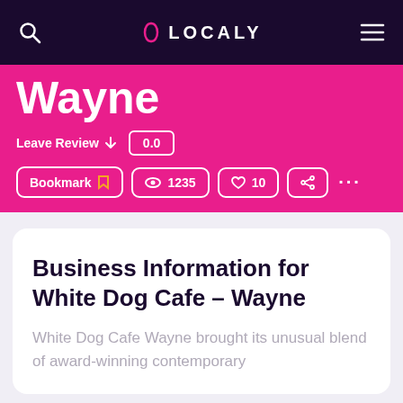LOCALY
Wayne
Leave Review ↓   0.0
Bookmark  1235  10  ···
Business Information for White Dog Cafe – Wayne
White Dog Cafe Wayne brought its unusual blend of award-winning contemporary